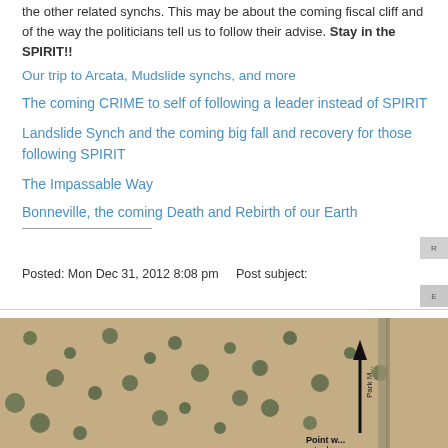the other related synchs. This may be about the coming fiscal cliff and of the way the politicians tell us to follow their advise. Stay in the SPIRIT!!
Our trip to Arcata, Mudslide synchs, and more
The coming CRIME to self of following a leader instead of SPIRIT
Landslide Synch and the coming big fall and recovery for those following SPIRIT
The Impassable Way
Bonneville, the coming Death and Rebirth of our Earth
Posted: Mon Dec 31, 2012 8:08 pm    Post subject:
[Figure (photo): Aerial/satellite map image showing desert terrain with scattered shrubs, a road, a north arrow, and text 'Point w... stuck u...' visible at bottom right.]